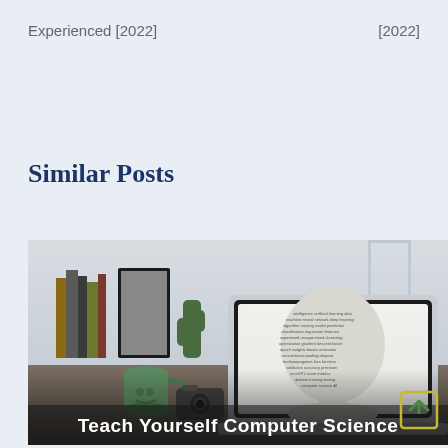Experienced [2022]
[2022]
Similar Posts
[Figure (photo): Laptop on a desk displaying a text art image of a human head profile composed of words, with books, a green mug, a camera and a plant in the background. Overlaid text at the bottom reads 'Teach Yourself Computer Science'. A small yellow arrow-up icon is visible bottom right.]